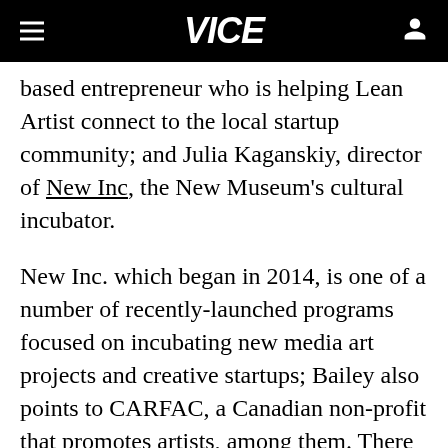VICE
based entrepreneur who is helping Lean Artist connect to the local startup community; and Julia Kaganskiy, director of New Inc, the New Museum's cultural incubator.

New Inc. which began in 2014, is one of a number of recently-launched programs focused on incubating new media art projects and creative startups; Bailey also points to CARFAC, a Canadian non-profit that promotes artists, among them. There are "a few artist unions and artist support networks," he says, but none of these programs provide the sort of